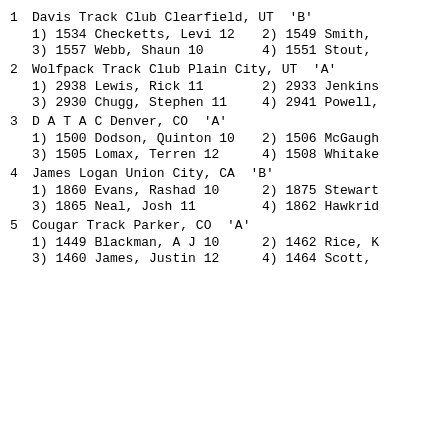1  Davis Track Club Clearfield, UT  'B'
  1) 1534 Checketts, Levi 12    2) 1549 Smith,
  3) 1557 Webb, Shaun 10         4) 1551 Stout,
2  Wolfpack Track Club Plain City, UT  'A'
  1) 2938 Lewis, Rick 11         2) 2933 Jenkins
  3) 2930 Chugg, Stephen 11      4) 2941 Powell,
3  D A T A C Denver, CO  'A'
  1) 1500 Dodson, Quinton 10     2) 1506 McGaugh
  3) 1505 Lomax, Terren 12       4) 1508 Whitake
4  James Logan Union City, CA  'B'
  1) 1860 Evans, Rashad 10       2) 1875 Stewart
  3) 1865 Neal, Josh 11          4) 1862 Hawkrid
5  Cougar Track Parker, CO  'A'
  1) 1449 Blackman, A J 10       2) 1462 Rice, K
  3) 1460 James, Justin 12       4) 1464 Scott,